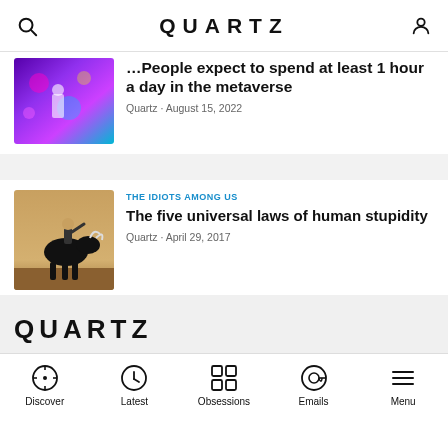QUARTZ
[Figure (photo): Metaverse disco scene with purple and blue lights, person figure]
People expect to spend at least 1 hour a day in the metaverse
Quartz · August 15, 2022
[Figure (photo): Person fighting a black bull on sandy ground]
THE IDIOTS AMONG US
The five universal laws of human stupidity
Quartz · April 29, 2017
[Figure (photo): Foggy river scene with oil tanker/industrial ships]
UNDER THE SCANNER
India may have shipped oil to the US without revealing its Russian origin
QUARTZ — Discover · Latest · Obsessions · Emails · Menu